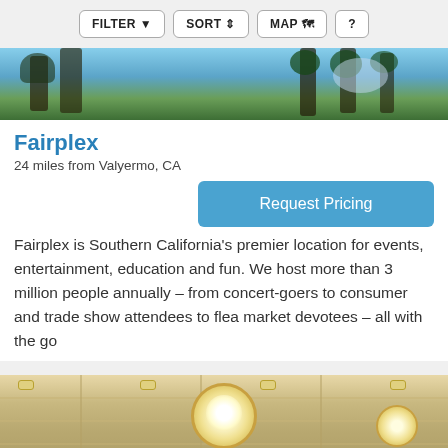FILTER  SORT  MAP  ?
[Figure (photo): Outdoor photo showing palm trees and blue sky, street scene banner visible]
Fairplex
24 miles from Valyermo, CA
Request Pricing
Fairplex is Southern California's premier location for events, entertainment, education and fun. We host more than 3 million people annually – from concert-goers to consumer and trade show attendees to flea market devotees – all with the go
[Figure (photo): Interior photo of a large event hall with recessed ceiling lights and hanging chandeliers]